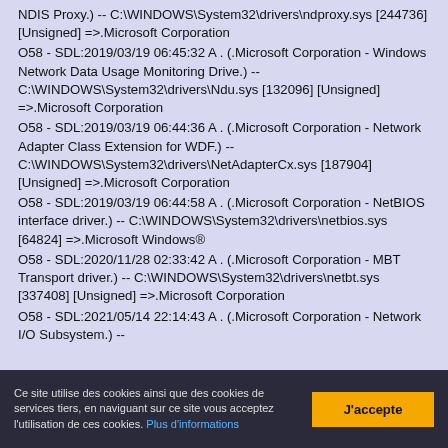NDIS Proxy.) -- C:\WINDOWS\System32\drivers\ndproxy.sys [244736] [Unsigned] =>.Microsoft Corporation
O58 - SDL:2019/03/19 06:45:32 A . (.Microsoft Corporation - Windows Network Data Usage Monitoring Drive.) -- C:\WINDOWS\System32\drivers\Ndu.sys [132096] [Unsigned] =>.Microsoft Corporation
O58 - SDL:2019/03/19 06:44:36 A . (.Microsoft Corporation - Network Adapter Class Extension for WDF.) -- C:\WINDOWS\System32\drivers\NetAdapterCx.sys [187904] [Unsigned] =>.Microsoft Corporation
O58 - SDL:2019/03/19 06:44:58 A . (.Microsoft Corporation - NetBIOS interface driver.) -- C:\WINDOWS\System32\drivers\netbios.sys [64824] =>.Microsoft Windows®
O58 - SDL:2020/11/28 02:33:42 A . (.Microsoft Corporation - MBT Transport driver.) -- C:\WINDOWS\System32\drivers\netbt.sys [337408] [Unsigned] =>.Microsoft Corporation
O58 - SDL:2021/05/14 22:14:43 A . (.Microsoft Corporation - Network I/O Subsystem.) --
Ce site utilise des cookies ainsi que des cookies de services tiers, en naviguant sur ce site vous acceptez l'utilisation de ces cookies. Plus d'informations